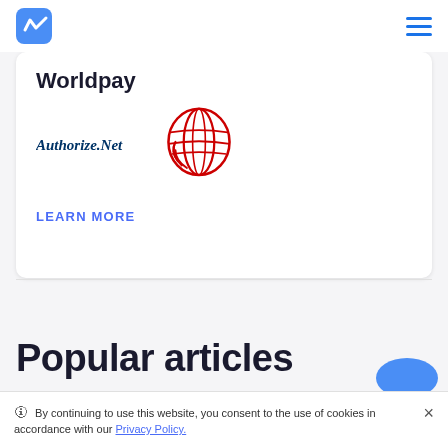Payhawk logo and navigation menu
Worldpay
[Figure (logo): Authorize.Net logo and Worldpay red globe logo]
LEARN MORE
Popular articles
[Figure (illustration): Partial blue chat bubble icon in bottom right corner]
By continuing to use this website, you consent to the use of cookies in accordance with our Privacy Policy.